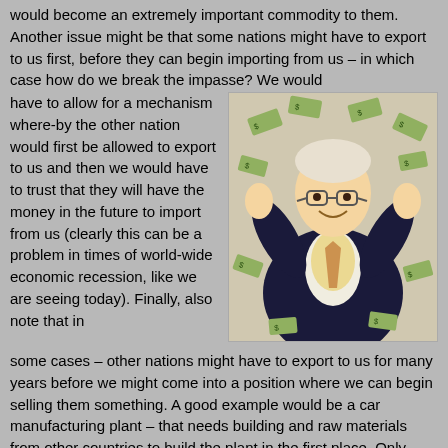would become an extremely important commodity to them. Another issue might be that some nations might have to export to us first, before they can begin importing from us – in which case how do we break the impasse? We would have to allow for a mechanism where-by the other nation would first be allowed to export to us and then we would have to trust that they will have the money in the future to import from us (clearly this can be a problem in times of world-wide economic recession, like we are seeing today). Finally, also note that in some cases – other nations might have to export to us for many years before we might come into a position where we can begin selling them something. A good example would be a car manufacturing plant – that needs building and raw materials from other countries to build the plant in the first place. Only once the plant is built (which can take from 2 to 5 years, not including design time for the car itself), will we have a car to sell to other nations to close the trade gap.
[Figure (illustration): Illustration of Warren Buffett smiling with hands raised, surrounded by flying dollar bills/money, wearing a dark suit with red tie]